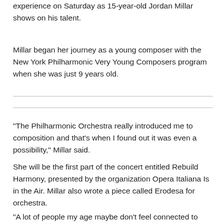experience on Saturday as 15-year-old Jordan Millar shows on his talent.
Millar began her journey as a young composer with the New York Philharmonic Very Young Composers program when she was just 9 years old.
“The Philharmonic Orchestra really introduced me to composition and that’s when I found out it was even a possibility,” Millar said.
She will be the first part of the concert entitled Rebuild Harmony, presented by the organization Opera Italiana Is in the Air. Millar also wrote a piece called Erodesa for orchestra.
“A lot of people my age maybe don’t feel connected to classical